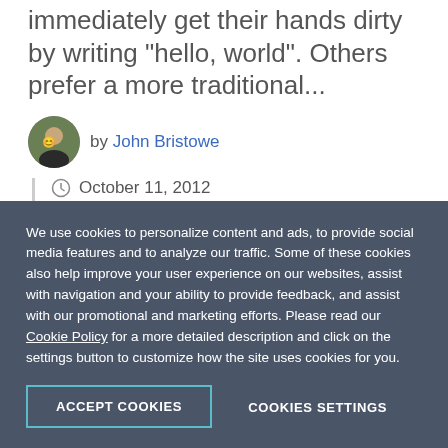immediately get their hands dirty by writing "hello, world". Others prefer a more traditional...
by John Bristowe
October 11, 2012
Share
We use cookies to personalize content and ads, to provide social media features and to analyze our traffic. Some of these cookies also help improve your user experience on our websites, assist with navigation and your ability to provide feedback, and assist with our promotional and marketing efforts. Please read our Cookie Policy for a more detailed description and click on the settings button to customize how the site uses cookies for you.
ACCEPT COOKIES
COOKIES SETTINGS